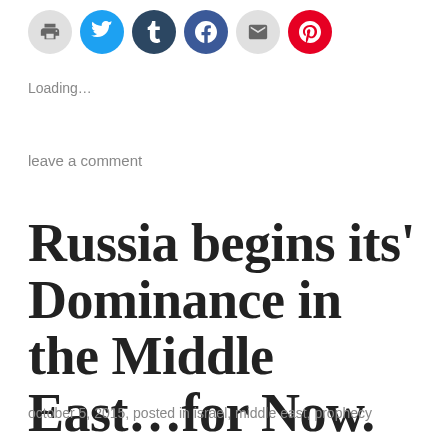[Figure (other): Row of social sharing icon buttons: print, Twitter, Tumblr, Facebook, email, Pinterest]
Loading...
leave a comment
Russia begins its’ Dominance in the Middle East…for Now.
october 5, 2015, posted in israel, middle east, prophecy
Although it will add to the power of ISIS, it will re-establish...